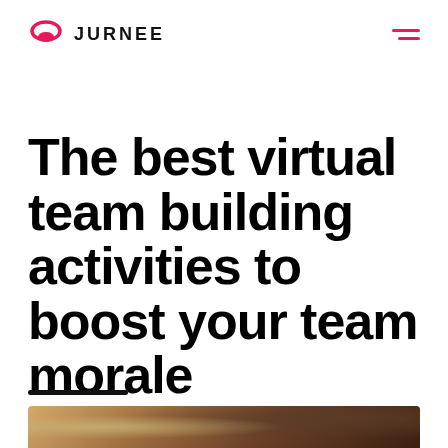JURNEE
The best virtual team building activities to boost your team morale
[Figure (photo): Partial view of a photo showing hands or objects, dark warm-toned background, appears to be a close-up of people at a gathering or event]